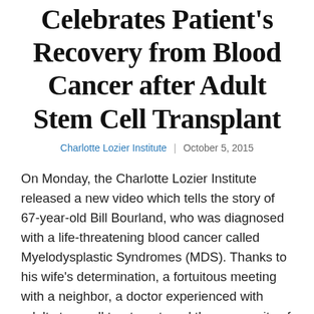Celebrates Patient's Recovery from Blood Cancer after Adult Stem Cell Transplant
Charlotte Lozier Institute | October 5, 2015
On Monday, the Charlotte Lozier Institute released a new video which tells the story of 67-year-old Bill Bourland, who was diagnosed with a life-threatening blood cancer called Myelodysplastic Syndromes (MDS). Thanks to his wife's determination, a fortuitous meeting with a neighbor, a doctor experienced with adult stem cell treatment, and the generosity of his brother, Bill has received a second chance at life with a